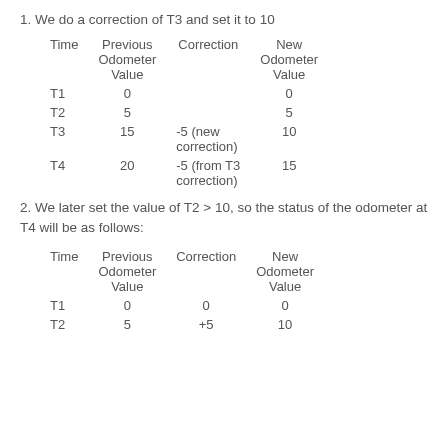1. We do a correction of T3 and set it to 10
| Time | Previous Odometer Value | Correction | New Odometer Value |
| --- | --- | --- | --- |
| T1 | 0 |  | 0 |
| T2 | 5 |  | 5 |
| T3 | 15 | -5 (new correction) | 10 |
| T4 | 20 | -5 (from T3 correction) | 15 |
2. We later set the value of T2 > 10, so the status of the odometer at T4 will be as follows:
| Time | Previous Odometer Value | Correction | New Odometer Value |
| --- | --- | --- | --- |
| T1 | 0 | 0 | 0 |
| T2 | 5 | +5 | 10 |